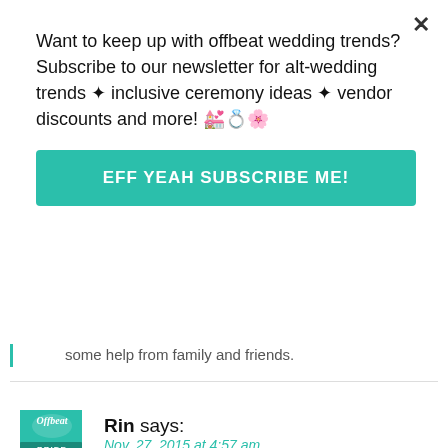Want to keep up with offbeat wedding trends?Subscribe to our newsletter for alt-wedding trends ✦ inclusive ceremony ideas ✦ vendor discounts and more! 🎉🎊💒
EFF YEAH SUBSCRIBE ME!
some help from family and friends.
Rin says:
Nov. 27, 2015 at 4:57 am
Absolutely gorgeous, from the most amazing setting to the dress, the intimacy and the mohawk on a crow cake topper! It's something straight from a tale, I love it. Also thanks for the cocktail recipes 🙂